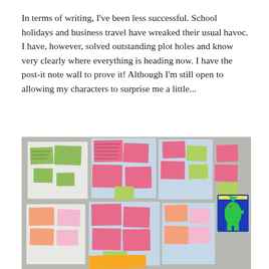In terms of writing, I've been less successful. School holidays and business travel have wreaked their usual havoc. I have, however, solved outstanding plot holes and know very clearly where everything is heading now. I have the post-it note wall to prove it! Although I'm still open to allowing my characters to surprise me a little...
[Figure (photo): A wall covered with colourful post-it notes (pink, green, yellow, salmon) arranged on white and light-blue paper sheets, with a small colourful illustration of a green dinosaur on a blue background pinned to the right side.]